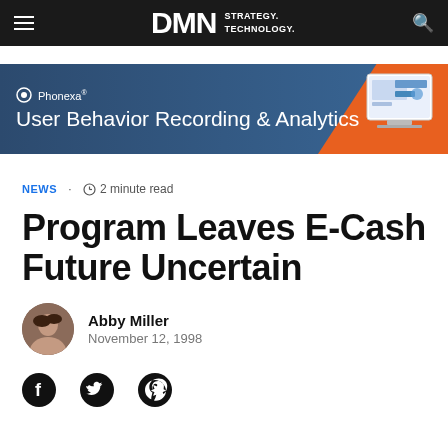DMN STRATEGY. TECHNOLOGY.
[Figure (other): Phonexa advertisement banner: User Behavior Recording & Analytics with monitor graphic]
NEWS · 2 minute read
Program Leaves E-Cash Future Uncertain
Abby Miller
November 12, 1998
[Figure (other): Social sharing icons: Facebook, Twitter, Pinterest]